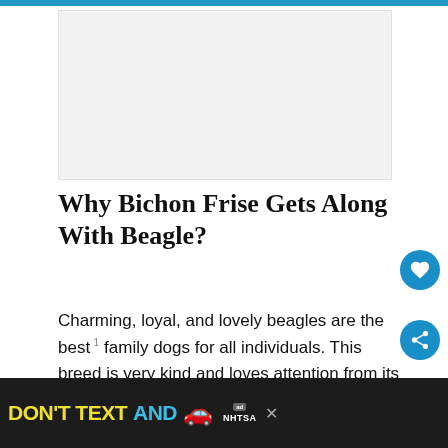[Figure (other): Advertisement placeholder banner at top of page]
Why Bichon Frise Gets Along With Beagle?
Charming, loyal, and lovely beagles are the best family dogs for all individuals. This breed is very kind and loves attention from its owners. Also, it likes to have company and does not like being alone as it is used to getting a lot of love.
[Figure (other): NHTSA Don't Text and Drive advertisement banner at the bottom of the page]